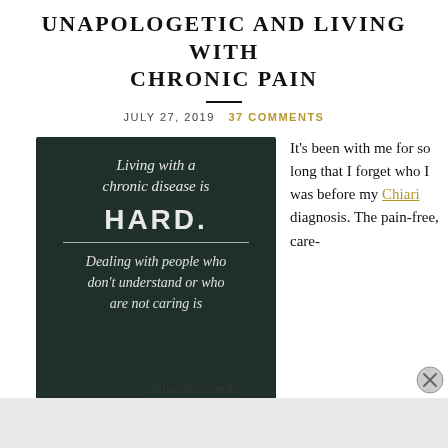UNAPOLOGETIC AND LIVING WITH CHRONIC PAIN
JULY 27, 2019   37 COMMENTS
[Figure (photo): Chalkboard image with white chalk text reading: 'Living with a chronic disease is HARD. Dealing with people who don't understand or who are not caring is']
It’s been with me for so long that I forget who I was before my Chiari diagnosis. The pain-free, care-
Advertisements